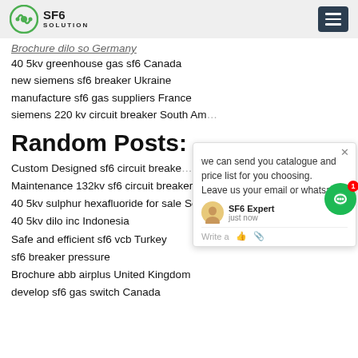SF6 SOLUTION
Brochure dilo so Germany
40 5kv greenhouse gas sf6 Canada
new siemens sf6 breaker Ukraine
manufacture sf6 gas suppliers France
siemens 220 kv circuit breaker South America
Random Posts:
Custom Designed sf6 circuit breakers Australia
Maintenance 132kv sf6 circuit breaker s...
40 5kv sulphur hexafluoride for sale South America
40 5kv dilo inc Indonesia
Safe and efficient sf6 vcb Turkey
sf6 breaker pressure
Brochure abb airplus United Kingdom
develop sf6 gas switch Canada